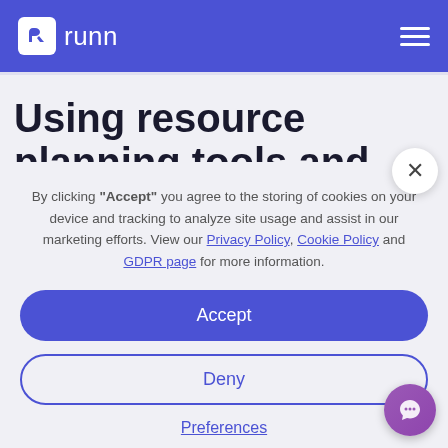runn
Using resource planning tools and
By clicking “Accept” you agree to the storing of cookies on your device and tracking to analyze site usage and assist in our marketing efforts. View our Privacy Policy, Cookie Policy and GDPR page for more information.
Accept
Deny
Preferences